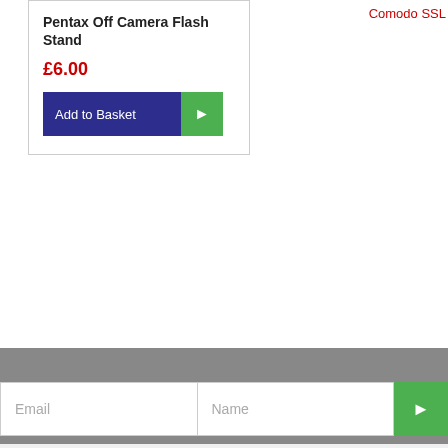Comodo SSL
Pentax Off Camera Flash Stand
£6.00
Add to Basket
Email
Name
Home
Contact us
My Account